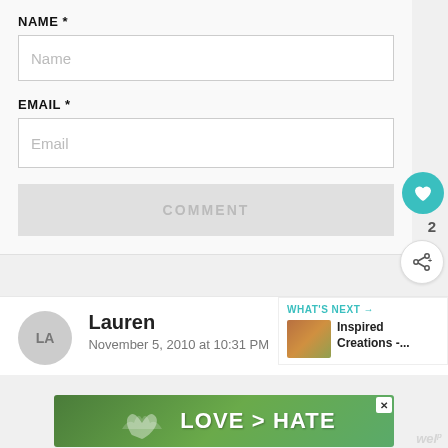NAME *
Name
EMAIL *
Email
COMMENT
2
Lauren
November 5, 2010 at 10:31 PM
WHAT'S NEXT → Inspired Creations -...
[Figure (illustration): Advertisement banner with green background showing hands forming heart shape and text LOVE > HATE]